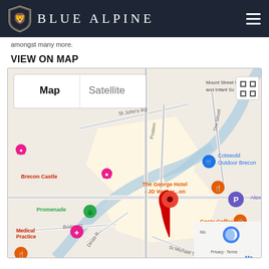BLUE ALPINE
amongst many more.
VIEW ON MAP
[Figure (map): Google Maps embed showing Brecon town centre with a red pin marker, displaying landmarks including Brecon Castle, The George Hotel - JD Wetherspoon, Cotswold Outdoor Brecon, Costa Coffee, Promenade, Medical Practice, Alexandra Road parking, and Brecon Tap. Map/Satellite toggle visible in top left. Streets visible include St John's Rd, Postern, The Struet, Bridge St, Dinas Rd, St Michael St.]